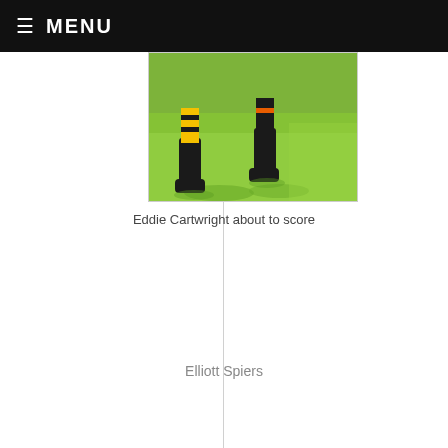≡ MENU
[Figure (photo): Close-up photo of football/rugby players' legs in yellow and black striped socks running on green grass field, taken from low angle in bright sunlight.]
Eddie Cartwright about to score
Elliott Spiers